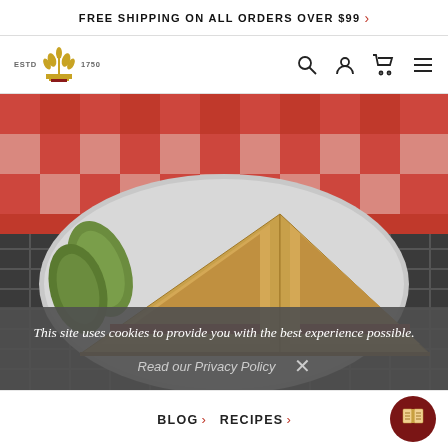FREE SHIPPING ON ALL ORDERS OVER $99 >
[Figure (logo): Brand logo: wheat crown icon with ESTD and 1750 text flanking it]
[Figure (photo): Photo of a toasted sandwich cut into triangles served on a plate with pickles, on a red-and-white checkered tablecloth]
This site uses cookies to provide you with the best experience possible.
Read our Privacy Policy   X
BLOG > RECIPES >